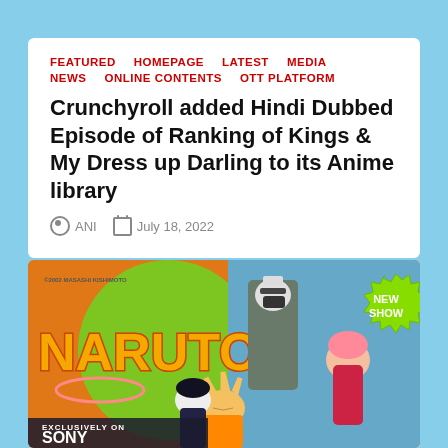FEATURED   HOMEPAGE   LATEST   MEDIA   NEWS   ONLINE CONTENTS   OTT PLATFORM
Crunchyroll added Hindi Dubbed Episode of Ranking of Kings & My Dress up Darling to its Anime library
ANI   July 18, 2022
[Figure (illustration): Naruto anime promotional banner showing characters including Kakashi, Sakura, and Naruto with 'NEW SHOW' badge and 'EXCLUSIVELY ON SONY' text. Orange and green background. Copyright 2002 Masashi Kishimoto.]